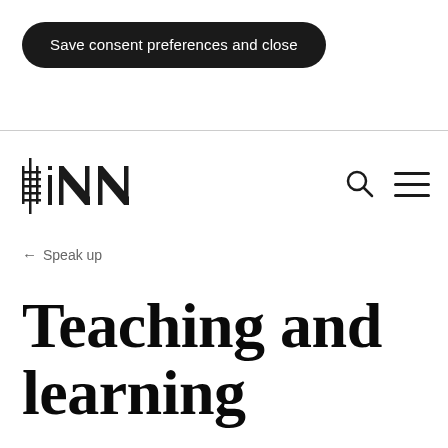Save consent preferences and close
[Figure (logo): INN logo — hashtag/grid symbol followed by the letters INN in a geometric sans-serif style]
← Speak up
Teaching and learning